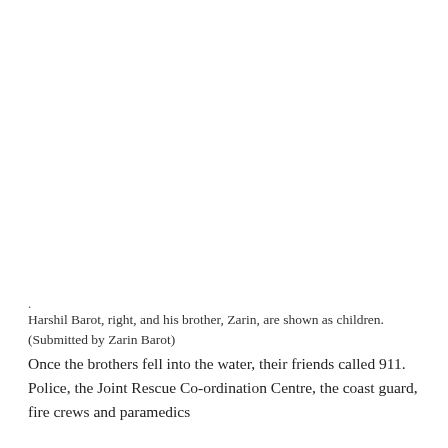Harshil Barot, right, and his brother, Zarin, are shown as children. (Submitted by Zarin Barot)
Once the brothers fell into the water, their friends called 911. Police, the Joint Rescue Co-ordination Centre, the coast guard, fire crews and paramedics